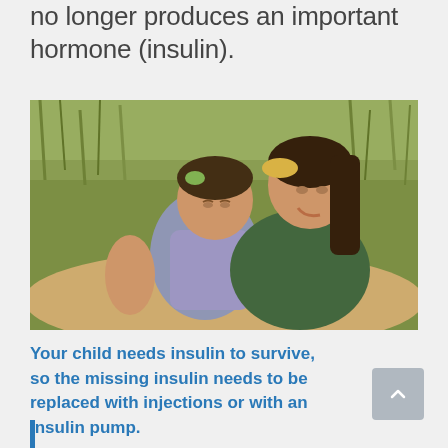no longer produces an important hormone (insulin).
[Figure (photo): A mother holding and kissing a young child on the forehead, sitting outdoors in a sunny grassy area.]
Your child needs insulin to survive, so the missing insulin needs to be replaced with injections or with an insulin pump.